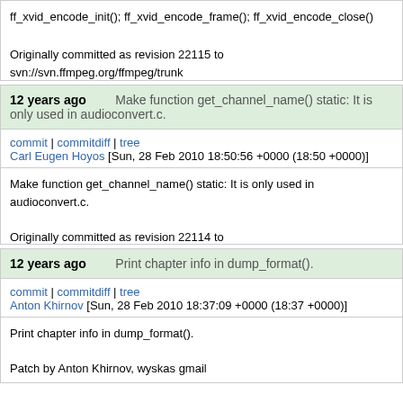ff_xvid_encode_init(); ff_xvid_encode_frame(); ff_xvid_encode_close()

Originally committed as revision 22115 to svn://svn.ffmpeg.org/ffmpeg/trunk
12 years ago    Make function get_channel_name() static: It is only used in audioconvert.c.
commit | commitdiff | tree
Carl Eugen Hoyos [Sun, 28 Feb 2010 18:50:56 +0000 (18:50 +0000)]
Make function get_channel_name() static: It is only used in audioconvert.c.

Originally committed as revision 22114 to svn://svn.ffmpeg.org/ffmpeg/trunk
12 years ago    Print chapter info in dump_format().
commit | commitdiff | tree
Anton Khirnov [Sun, 28 Feb 2010 18:37:09 +0000 (18:37 +0000)]
Print chapter info in dump_format().

Patch by Anton Khirnov, wyskas gmail